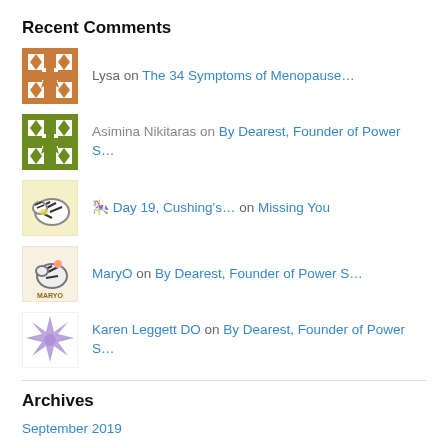Recent Comments
Lysa on The 34 Symptoms of Menopause…
Asimina Nikitaras on By Dearest, Founder of Power S…
🎠 Day 19, Cushing's… on Missing You
MaryO on By Dearest, Founder of Power S…
Karen Leggett DO on By Dearest, Founder of Power S…
Archives
September 2019